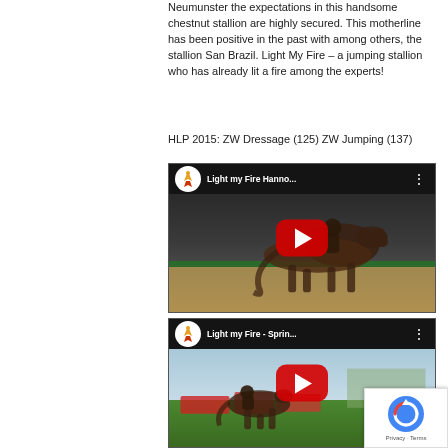Neumunster the expectations in this handsome chestnut stallion are highly secured. This motherline has been positive in the past with among others, the stallion San Brazil. Light My Fire – a jumping stallion who has already lit a fire among the experts!
HLP 2015: ZW Dressage (125) ZW Jumping (137)
[Figure (screenshot): YouTube video thumbnail for 'Light my Fire Hanno...' by Landgestut Chile channel, showing a chestnut horse trotting in an arena with a large red play button overlay.]
[Figure (screenshot): YouTube video thumbnail for 'Light my Fire - Sprin...' by Landgestut Chile channel, showing a jumping event on a grass field with a large red play button overlay.]